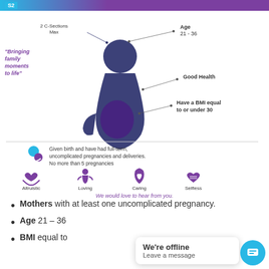[Figure (infographic): Surrogate mother infographic showing a pregnant silhouette with annotation lines pointing to: '2 C-Sections Max', 'Age 21-36', 'Good Health', 'Have a BMI equal to or under 30'. Quote: 'Bringing family moments to life'. Below: icon of mother with baby indicating full-term uncomplicated pregnancies, no more than 5 pregnancies. Four trait icons: Altruistic, Loving, Caring, Selfless. CTA: 'We would love to hear from you.']
Mothers with at least one uncomplicated pregnancy.
Age 21 – 36
BMI equal to...